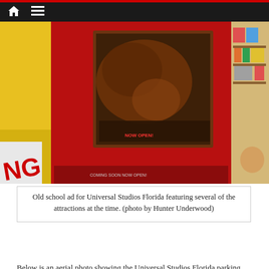[Figure (photo): Old school advertisement for Universal Studios Florida showing attractions including a red display box with movie imagery, yellow signage on the left, and a gift shop area visible on the right]
Old school ad for Universal Studios Florida featuring several of the attractions at the time. (photo by Hunter Underwood)
Below is an aerial photo showing the Universal Studios Florida parking lot, directly in front of the park’s entrance.
[Figure (photo): Bottom portion showing an aerial photo on the left and an SHSU Online advertisement banner on the right with text 'eturn on YOUR investment in tim']